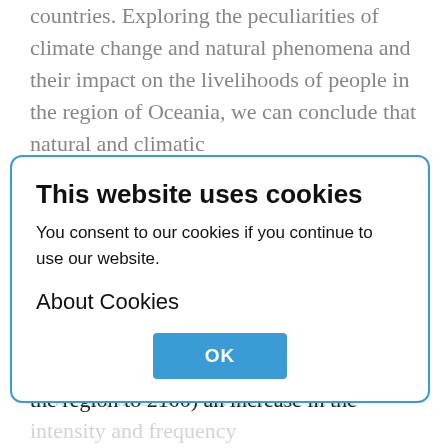countries. Exploring the peculiarities of climate change and natural phenomena and their impact on the livelihoods of people in the region of Oceania, we can conclude that natural and climatic influences directly and indirectly affect different spheres of life of the local population. Nevertheless, the impact of climate change and natural phenomena on the migration of the population of Oceania at the moment is insignificant (no more than 10-12% of international flows), however, in case of an increase in the intensity and frequency of na- tural disasters, and also due to an increase in the number and density of population (71 million people will live in the region to 2100) an increase in the flows of environmental migrants.
This website uses cookies
You consent to our cookies if you continue to use our website.
About Cookies
OK